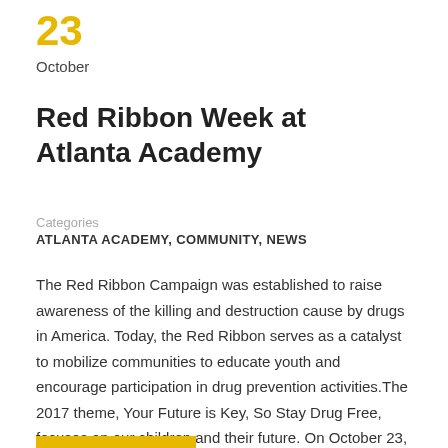23
October
Red Ribbon Week at Atlanta Academy
Categories
ATLANTA ACADEMY, COMMUNITY, NEWS
The Red Ribbon Campaign was established to raise awareness of the killing and destruction cause by drugs in America. Today, the Red Ribbon serves as a catalyst to mobilize communities to educate youth and encourage participation in drug prevention activities.The 2017 theme, Your Future is Key, So Stay Drug Free, focuses on our children and their future. On October 23, Officer LaGala joined our Lower School and Middle School students for a “Say No to Drugs” presentation.